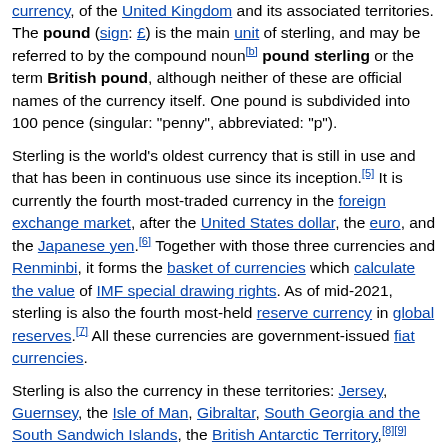currency, of the United Kingdom and its associated territories. The pound (sign: £) is the main unit of sterling, and may be referred to by the compound noun[b] pound sterling or the term British pound, although neither of these are official names of the currency itself. One pound is subdivided into 100 pence (singular: "penny", abbreviated: "p").
Sterling is the world's oldest currency that is still in use and that has been in continuous use since its inception.[5] It is currently the fourth most-traded currency in the foreign exchange market, after the United States dollar, the euro, and the Japanese yen.[6] Together with those three currencies and Renminbi, it forms the basket of currencies which calculate the value of IMF special drawing rights. As of mid-2021, sterling is also the fourth most-held reserve currency in global reserves.[7] All these currencies are government-issued fiat currencies.
Sterling is also the currency in these territories: Jersey, Guernsey, the Isle of Man, Gibraltar, South Georgia and the South Sandwich Islands, the British Antarctic Territory,[8][9] and Tristan da Cunha.[10] Local issues of the pound are produced in these territories which are valued at par with the British pound: the Guernsey pound, Jersey pound, Manx pound,[11][better source needed] Gibraltar pound, Falkland Islands pound, and the Saint Helena pound. Other